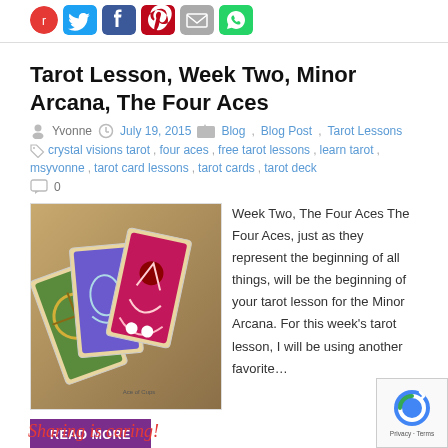[Social share icons: Twitter, Facebook, Pinterest, Email, WhatsApp]
Tarot Lesson, Week Two, Minor Arcana, The Four Aces
Yvonne   July 19, 2015   Blog, Blog Post, Tarot Lessons
crystal visions tarot, four aces, free tarot lessons, learn tarot, msyvonne, tarot card lessons, tarot cards, tarot deck
0
[Figure (photo): Fan of four tarot cards from the Crystal Visions Tarot deck, showing colorful illustrated cards including pentacles and cups]
Week Two, The Four Aces The Four Aces, just as they represent the beginning of all things, will be the beginning of your tarot lesson for the Minor Arcana. For this week's tarot lesson, I will be using another favorite…
READ MORE
Sharing is caring!